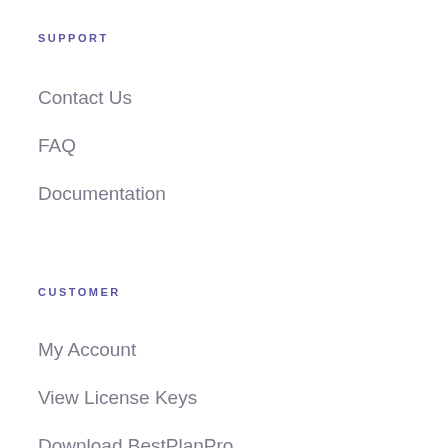SUPPORT
Contact Us
FAQ
Documentation
CUSTOMER
My Account
View License Keys
Download BestPlanPro
Tutorials
Download…